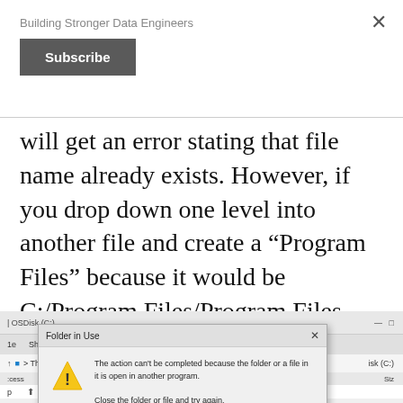Building Stronger Data Engineers
will get an error stating that file name already exists. However, if you drop down one level into another file and create a “Program Files” because it would be C:/Program Files/Program Files.
[Figure (screenshot): Windows File Explorer and a 'Folder in Use' dialog box. The dialog states: 'The action can’t be completed because the folder or a file in it is open in another program. Close the folder or file and try again.']